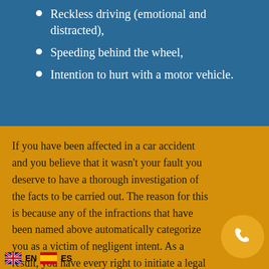Reckless driving (emotional and distracted),
Speeding behind the wheel,
Intention to hurt with a motor vehicle.
If you have been affected in a car accident and you believe that it wasn’t your fault you deserve to have a thorough investigation of the facts to be carried out. The reason for this is because any of the infractions that have been named above automatically categorize you as a victim of negligent intent. As a result, you have every right to initiate a legal suit that will deliver you the compensation and medical